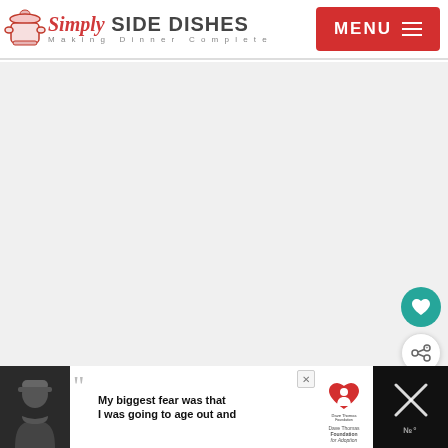Simply Side Dishes - Making Dinner Complete | MENU
[Figure (screenshot): Large white/gray blank content area of a recipe website page]
[Figure (other): Teal circular heart/favorite button floating on right side]
[Figure (other): White circular share button floating on right side]
[Figure (other): What's Next panel with thumbnail image and text 'Easy Instant Pot...']
[Figure (other): Bottom advertisement bar: person in winter hat, quote 'My biggest fear was that I was going to age out and', Dave Thomas Foundation for Adoption logo, close button, X icon and Mediavine logo on right]